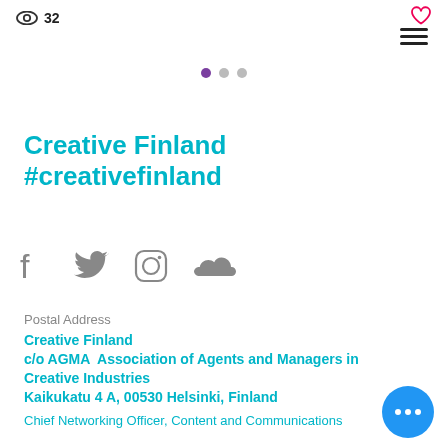32
[Figure (screenshot): Navigation dots pagination: one filled purple dot and two grey dots]
Creative Finland
#creativefinland
[Figure (infographic): Social media icons row: Facebook, Twitter, Instagram, SoundCloud in grey]
Postal Address
Creative Finland
c/o AGMA  Association of Agents and Managers in Creative Industries
Kaikukatu 4 A, 00530 Helsinki, Finland
Chief Networking Officer, Content and Communications